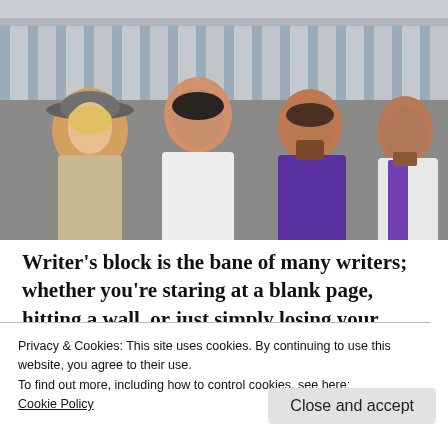[Figure (photo): Four people posing in front of a classical building with columns. From left: a blonde woman in a hat and beige coat, a man in a white tunic in the center, a man in a purple cape behind, and a man in a white and purple garment on the right.]
Writer's block is the bane of many writers; whether you're staring at a blank page, hitting a wall, or just simply losing your steam it's no
Privacy & Cookies: This site uses cookies. By continuing to use this website, you agree to their use.
To find out more, including how to control cookies, see here:
Cookie Policy
Close and accept
The Ides of March is a meta, witty, fourth wall-